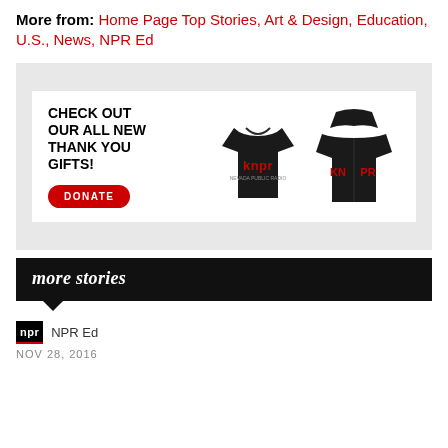More from: Home Page Top Stories, Art & Design, Education, U.S., News, NPR Ed
[Figure (photo): Advertisement banner showing KNPR merchandise — a black t-shirt with red 'knpr' text and a black hoodie with red 'KN PR' text, with text 'CHECK OUT OUR ALL NEW THANK YOU GIFTS!' and a red DONATE button]
more stories
NPR Ed
NOV 28, 2016